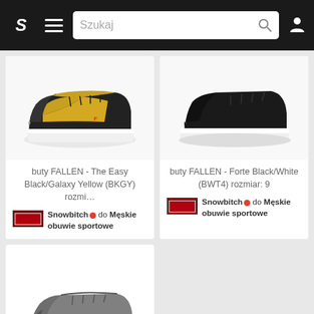[Figure (screenshot): Navigation bar with S logo, hamburger menu, search box labeled Szukaj, and user icon on dark background]
[Figure (photo): Yellow and black low-top sneaker (FALLEN brand) on white background]
buty FALLEN - The Easy Black/Galaxy Yellow (BKGY) rozmi…
Snowbitch 🔴 do Męskie obuwie sportowe
[Figure (photo): Black low-top sneaker (FALLEN Forte) on white background]
buty FALLEN - Forte Black/White (BWT4) rozmiar: 9
Snowbitch 🔴 do Męskie obuwie sportowe
[Figure (photo): Grey low-top sneaker on white background, partially visible at bottom of page]